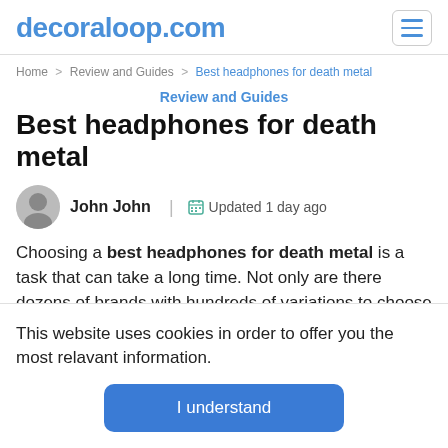decoraloop.com
Home > Review and Guides > Best headphones for death metal
Review and Guides
Best headphones for death metal
John John | Updated 1 day ago
Choosing a best headphones for death metal is a task that can take a long time. Not only are there dozens of brands with hundreds of variations to choose from, but
This website uses cookies in order to offer you the most relavant information.
I understand